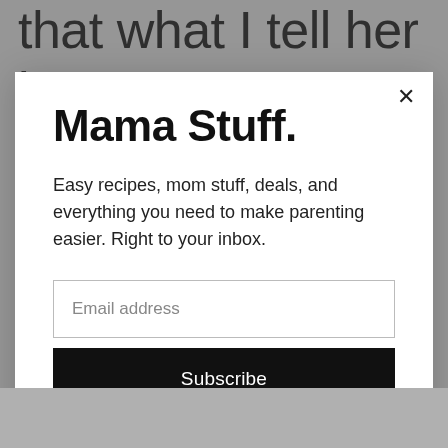that what I tell her is true. More than anything, I want her to grow up knowing that she is loved and can
Mama Stuff.
Easy recipes, mom stuff, deals, and everything you need to make parenting easier. Right to your inbox.
Email address
Subscribe